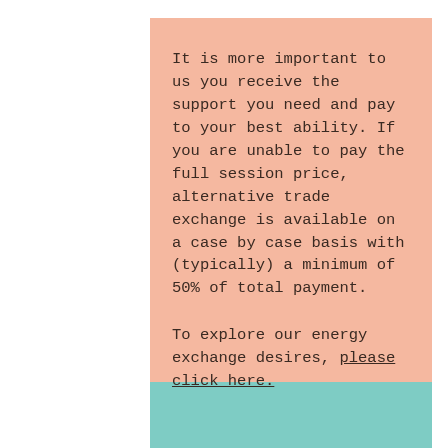It is more important to us you receive the support you need and pay to your best ability. If you are unable to pay the full session price, alternative trade exchange is available on a case by case basis with (typically) a minimum of 50% of total payment.
To explore our energy exchange desires, please click here.